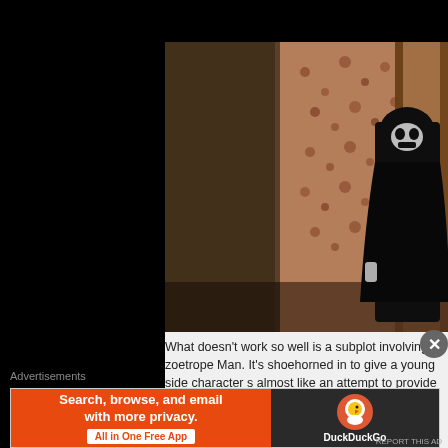[Figure (photo): A dark figure dressed in black robes standing in a hallway with floral wallpaper, from a horror film (The Conjuring or similar).]
What doesn't work so well is a subplot involving zoetrope Man. It's shoehorned in to give a young side character s almost like an attempt to provide another future tie-in ho Annabelle that originated from the first instalment). It jus absolutely nothing to the story at hand and its omiss
Advertisements
[Figure (screenshot): DuckDuckGo advertisement banner: orange section says 'Search, browse, and email with more privacy. All in One Free App', dark section shows DuckDuckGo logo and name.]